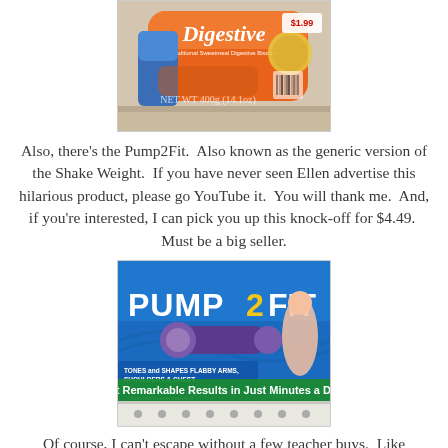[Figure (photo): Photo of Digestive biscuit packages on a store shelf, orange packaging visible with the word 'Digestive' and a price tag showing $1.99]
Also, there's the Pump2Fit. Also known as the generic version of the Shake Weight. If you have never seen Ellen advertise this hilarious product, please go YouTube it. You will thank me. And, if you're interested, I can pick you up this knock-off for $4.49. Must be a big seller.
[Figure (photo): Photo of a Pump2Fit product box on a store shelf. Blue packaging with text 'PUMP2FIT', 'Get Remarkable Results in Just Minutes a Day!', featuring a woman exercising with the product. Tagline mentions tones and shapes flabby arms, shoulders & chest.]
Of course, I can't escape without a few teacher buys. Like